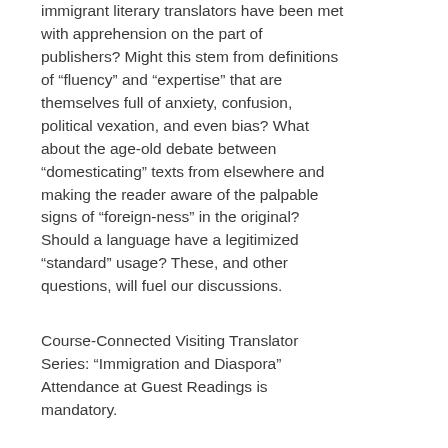immigrant literary translators have been met with apprehension on the part of publishers? Might this stem from definitions of “fluency” and “expertise” that are themselves full of anxiety, confusion, political vexation, and even bias? What about the age-old debate between “domesticating” texts from elsewhere and making the reader aware of the palpable signs of “foreign-ness” in the original? Should a language have a legitimized “standard” usage? These, and other questions, will fuel our discussions.
Course-Connected Visiting Translator Series: “Immigration and Diaspora” Attendance at Guest Readings is mandatory.